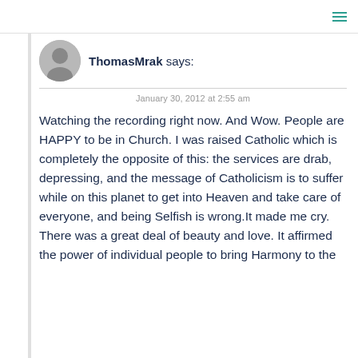≡
ThomasMrak says:
January 30, 2012 at 2:55 am
Watching the recording right now. And Wow. People are HAPPY to be in Church. I was raised Catholic which is completely the opposite of this: the services are drab, depressing, and the message of Catholicism is to suffer while on this planet to get into Heaven and take care of everyone, and being Selfish is wrong.It made me cry. There was a great deal of beauty and love. It affirmed the power of individual people to bring Harmony to the